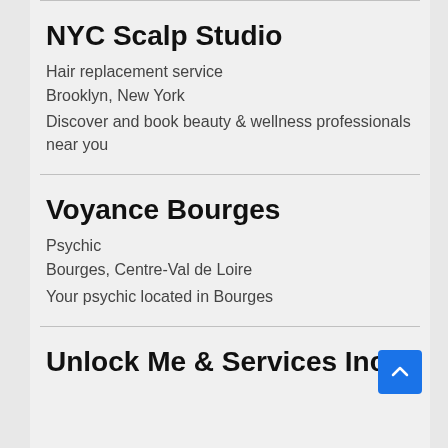NYC Scalp Studio
Hair replacement service
Brooklyn, New York
Discover and book beauty & wellness professionals near you
Voyance Bourges
Psychic
Bourges, Centre-Val de Loire
Your psychic located in Bourges
Unlock Me & Services Inc